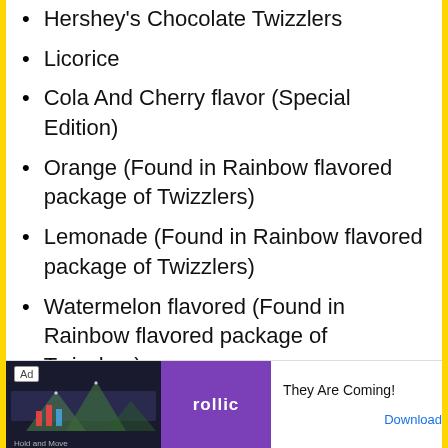Hershey's Chocolate Twizzlers
Licorice
Cola And Cherry flavor (Special Edition)
Orange (Found in Rainbow flavored package of Twizzlers)
Lemonade (Found in Rainbow flavored package of Twizzlers)
Watermelon flavored (Found in Rainbow flavored package of Twizzlers)
Blue Raspberry (Found in Rainbow…
[Figure (screenshot): Advertisement banner: Ad label, image of Hold and Move game, purple Rollic logo area, text 'They Are Coming!' and Download button]